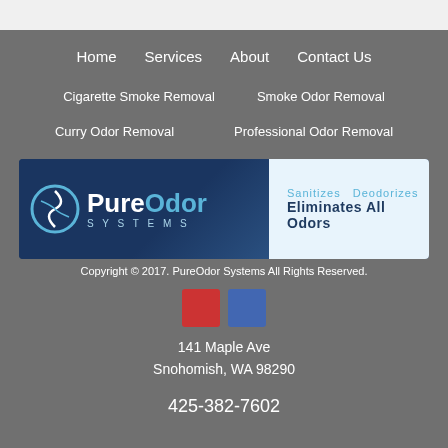Home | Services | About | Contact Us
Cigarette Smoke Removal
Smoke Odor Removal
Curry Odor Removal
Professional Odor Removal
[Figure (logo): PureOdor Systems logo with tagline: Sanitizes Deodorizes, Eliminates All Odors]
Copyright © 2017. PureOdor Systems All Rights Reserved.
141 Maple Ave
Snohomish, WA 98290
425-382-7602